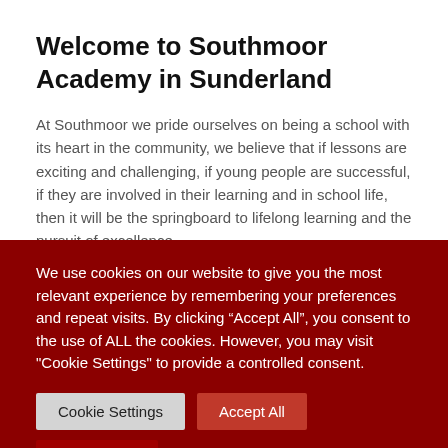Welcome to Southmoor Academy in Sunderland
At Southmoor we pride ourselves on being a school with its heart in the community, we believe that if lessons are exciting and challenging, if young people are successful, if they are involved in their learning and in school life, then it will be the springboard to lifelong learning and the pursuit of excellence.
We use cookies on our website to give you the most relevant experience by remembering your preferences and repeat visits. By clicking “Accept All”, you consent to the use of ALL the cookies. However, you may visit "Cookie Settings" to provide a controlled consent.
Cookie Settings | Accept All | Translate »